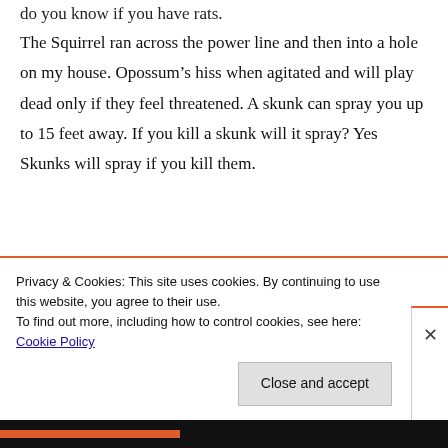do you know if you have rats.
The Squirrel ran across the power line and then into a hole on my house. Opossum’s hiss when agitated and will play dead only if they feel threatened. A skunk can spray you up to 15 feet away. If you kill a skunk will it spray? Yes Skunks will spray if you kill them.
Privacy & Cookies: This site uses cookies. By continuing to use this website, you agree to their use.
To find out more, including how to control cookies, see here: Cookie Policy
Close and accept